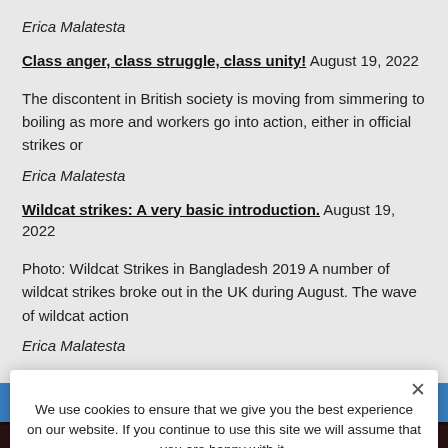Erica Malatesta
Class anger, class struggle, class unity! August 19, 2022
The discontent in British society is moving from simmering to boiling as more and workers go into action, either in official strikes or
Erica Malatesta
Wildcat strikes: A very basic introduction. August 19, 2022
Photo: Wildcat Strikes in Bangladesh 2019 A number of wildcat strikes broke out in the UK during August. The wave of wildcat action
Erica Malatesta
Italian Anarchist Federation Statement on the War in Ukraine
On February 1, 2021, Our Online-Shop will be closed. All
orders until January 31 will be delivered
Dismiss
We use cookies to ensure that we give you the best experience on our website. If you continue to use this site we will assume that you are happy with it.
Ok